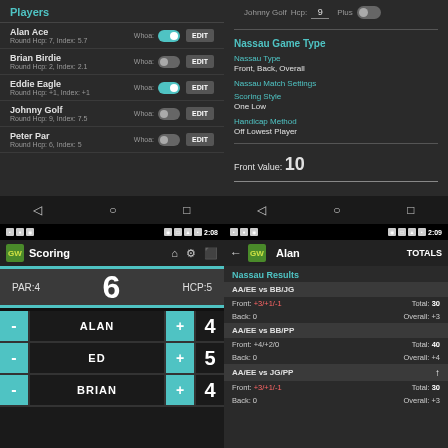[Figure (screenshot): Android app screenshot showing Players list with Alan Ace, Brian Birdie, Eddie Eagle, Johnny Golf, Peter Par with toggle switches and EDIT buttons]
[Figure (screenshot): Android app screenshot showing Nassau Game Type settings with Nassau Type, Match Settings, Scoring Style, Handicap Method, and Front Value of 10]
[Figure (screenshot): Android app screenshot showing Scoring screen with PAR:4, Hole 6, HCP:5, and score entry for ALAN(4), ED(5), BRIAN(4)]
[Figure (screenshot): Android app screenshot showing Alan's Nassau Results with AA/EE vs BB/JG (Front +3/+1/?, Total 30, Back 0, Overall +3), AA/EE vs BB/PP (Front +4/+2/0, Total 40, Back 0, Overall +4), AA/EE vs JG/PP (Front +3/+1/?, Total 30, Back 0, Overall +3)]